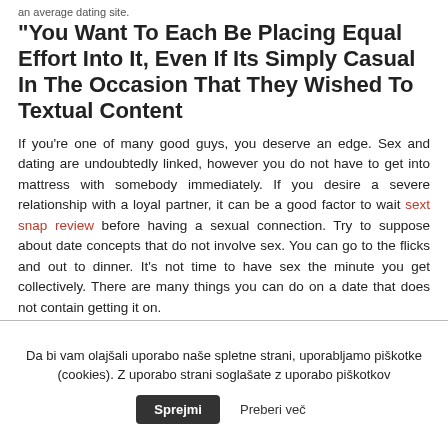an average dating site.
“You Want To Each Be Placing Equal Effort Into It, Even If Its Simply Casual In The Occasion That They Wished To Textual Content
If you’re one of many good guys, you deserve an edge. Sex and dating are undoubtedly linked, however you do not have to get into mattress with somebody immediately. If you desire a severe relationship with a loyal partner, it can be a good factor to wait sext snap review before having a sexual connection. Try to suppose about date concepts that do not involve sex. You can go to the flicks and out to dinner. It’s not time to have sex the minute you get collectively. There are many things you can do on a date that does not contain getting it on.
What are the levels of dating?
Da bi vam olajšali uporabo naše spletne strani, uporabljamo piškotke (cookies). Z uporabo strani soglašate z uporabo piškotkov
Sprejmi   Preberi več